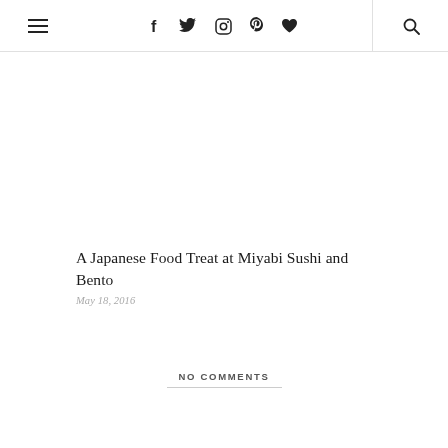≡  f  Twitter  Instagram  Pinterest  ♥  🔍
A Japanese Food Treat at Miyabi Sushi and Bento
May 18, 2016
NO COMMENTS